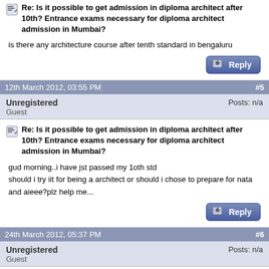Re: Is it possible to get admission in diploma architect after 10th? Entrance exams necessary for diploma architect admission in Mumbai?
is there any architecture course after tenth standard in bengaluru
12th March 2012, 03:55 PM  #5
Unregistered
Guest  Posts: n/a
Re: Is it possible to get admission in diploma architect after 10th? Entrance exams necessary for diploma architect admission in Mumbai?
gud morning..i have jst passed my 1oth std
should i try iit for being a architect or should i chose to prepare for nata and aieee?plz help me...
24th March 2012, 05:37 PM  #6
Unregistered
Guest  Posts: n/a
Re: Is it possible to get admission in diploma architect after 10th? Entrance exams necessary for diploma architect admission in Mumbai?
Dear Sir, I have passed my 10th, but failed in 12th, after that i have passed ITI in steno cum computer operator, securing 71% in 2002. Today, i am working in GACL as Personal Assistance on contract basis